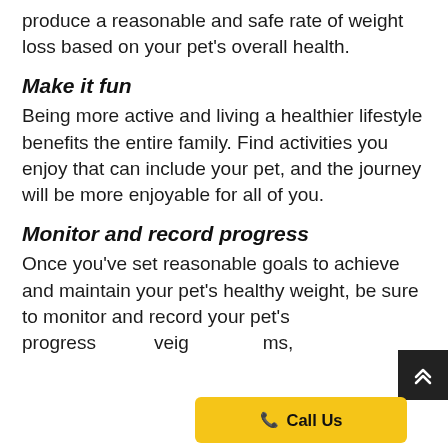produce a reasonable and safe rate of weight loss based on your pet's overall health.
Make it fun
Being more active and living a healthier lifestyle benefits the entire family. Find activities you enjoy that can include your pet, and the journey will be more enjoyable for all of you.
Monitor and record progress
Once you've set reasonable goals to achieve and maintain your pet's healthy weight, be sure to monitor and record your pet's progress weig ms,